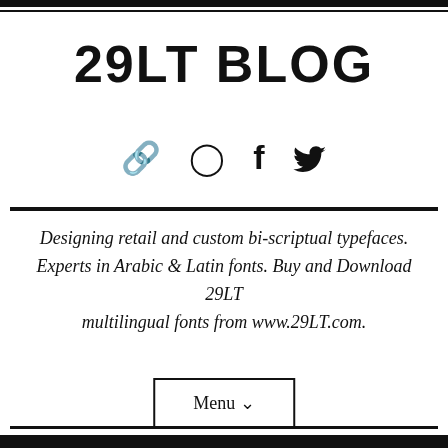29LT BLOG
[Figure (infographic): Social media icons: link/chain icon, Instagram icon, Facebook icon, Twitter bird icon]
Designing retail and custom bi-scriptual typefaces. Experts in Arabic & Latin fonts. Buy and Download 29LT multilingual fonts from www.29LT.com.
Menu ∨